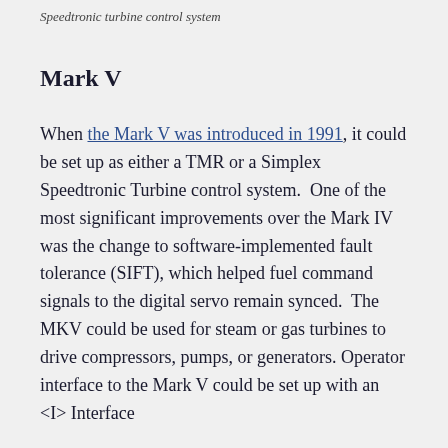Speedtronic turbine control system
Mark V
When the Mark V was introduced in 1991, it could be set up as either a TMR or a Simplex Speedtronic Turbine control system.  One of the most significant improvements over the Mark IV was the change to software-implemented fault tolerance (SIFT), which helped fuel command signals to the digital servo remain synced.  The MKV could be used for steam or gas turbines to drive compressors, pumps, or generators. Operator interface to the Mark V could be set up with an <I> Interface